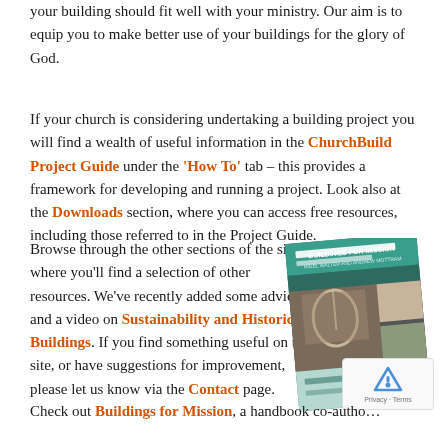your building should fit well with your ministry. Our aim is to equip you to make better use of your buildings for the glory of God.
If your church is considering undertaking a building project you will find a wealth of useful information in the ChurchBuild Project Guide under the 'How To' tab – this provides a framework for developing and running a project. Look also at the Downloads section, where you can access free resources, including those referred to in the Project Guide.
Browse through the other sections of the site where you'll find a selection of other resources. We've recently added some advice and a video on Sustainability and Historic Buildings. If you find something useful on the site, or have suggestions for improvement, please let us know via the Contact page.
[Figure (photo): Book cover: Buildings for Mission, by Nigel Walter and Andrew Mottram, showing interior of a historic church and other architectural images]
Check out Buildings for Mission, a handbook co-authored by Nigel Walter and Andrew...